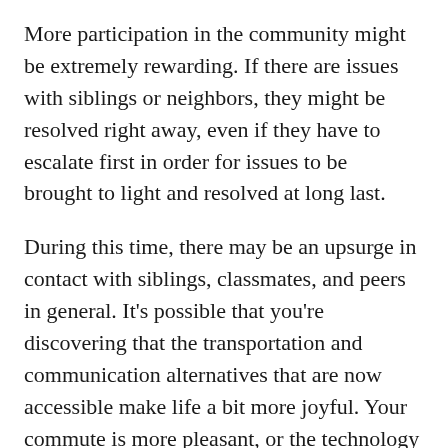More participation in the community might be extremely rewarding. If there are issues with siblings or neighbors, they might be resolved right away, even if they have to escalate first in order for issues to be brought to light and resolved at long last.
During this time, there may be an upsurge in contact with siblings, classmates, and peers in general. It's possible that you're discovering that the transportation and communication alternatives that are now accessible make life a bit more joyful. Your commute is more pleasant, or the technology that connects you with others is better. This topic frequently occurs in conjunction with the introduction of new wheels, rides, phones, or other technology that offer up new or improved channels for communicating with others and